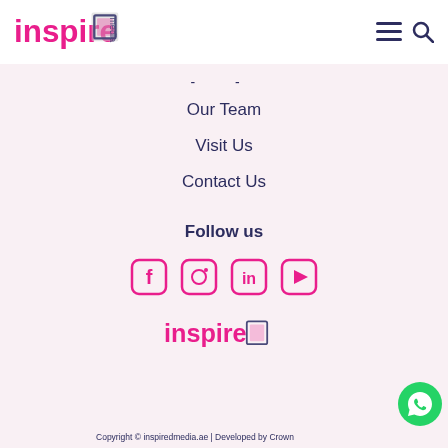inspire media — navigation header with hamburger and search icons
- -
Our Team
Visit Us
Contact Us
Follow us
[Figure (infographic): Social media icons: Facebook, Instagram, LinkedIn, YouTube — all in pink/magenta outline style]
[Figure (logo): inspire media logo in footer]
Copyright © inspiredmedia.ae | Developed by Crown